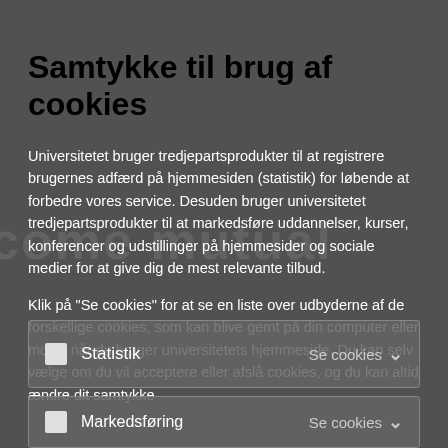Samtykke til brug af cookies
Universitetet bruger tredjepartsprodukter til at registrere brugernes adfærd på hjemmesiden (statistik) for løbende at forbedre vores service. Desuden bruger universitetet tredjepartsprodukter til at markedsføre uddannelser, kurser, konferencer og udstillinger på hjemmesider og sociale medier for at give dig de mest relevante tilbud.
Klik på "Se cookies" for at se en liste over udbyderne af de forskellige cookies, som kan blive gemt på din computer eller mobil, når du bruger universitetets hjemmeside. Du kan selv vælge om du vil acceptere eller afslå cookies, og du kan altid ændre dit samtykke
Statistik  Se cookies
Markedsføring  Se cookies